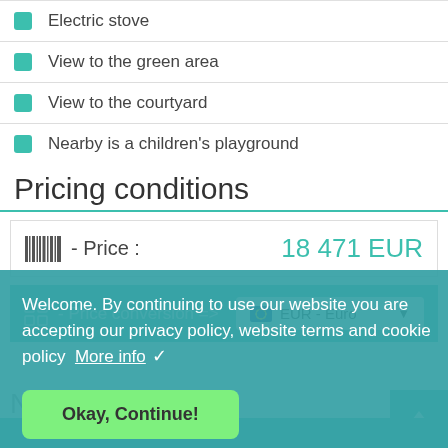Electric stove
View to the green area
View to the courtyard
Nearby is a children's playground
Pricing conditions
- Price :    18 471 EUR
- Price conversion =>    EUR - Euro
Welcome. By continuing to use our website you are accepting our privacy policy, website terms and cookie policy  More info
Okay, Continue!
Nearby